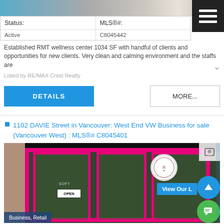[Figure (photo): Top photo strip showing partial property images]
| Status: | MLS®#: |
| --- | --- |
| Active | C8045442 |
Established RMT wellness center 1034 SF with handful of clients and opportunities for new clients. Very clean and calming environment and the staffs are
Listed by RE/MAX Crest Realty
DETAILS
MORE...
1102 DAVIE Street in Vancouver: West End VW Business for sale (Vancouver West) : MLS®# C8045401
[Figure (photo): Storefront photo of a business with bright pink door frames at 1102 Davie Street, Vancouver. Shows glass entrance doors with open sign and circular business logo. Business, Retail label shown at bottom left. View Our [listing] button visible on right side.]